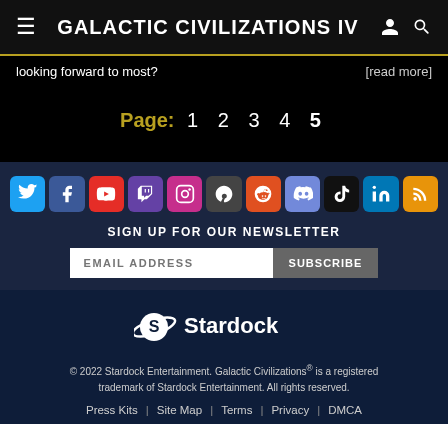Galactic Civilizations IV
looking forward to most?
[read more]
Page: 1  2  3  4  5
[Figure (infographic): Row of social media icons: Twitter, Facebook, YouTube, Twitch, Instagram, Steam, Reddit, Discord, TikTok, LinkedIn, RSS]
SIGN UP FOR OUR NEWSLETTER
EMAIL ADDRESS   SUBSCRIBE
[Figure (logo): Stardock logo with stylized S planet icon and Stardock wordmark]
© 2022 Stardock Entertainment. Galactic Civilizations® is a registered trademark of Stardock Entertainment. All rights reserved.
Press Kits | Site Map | Terms | Privacy | DMCA